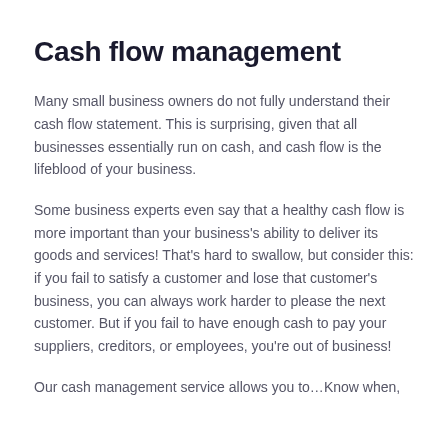Cash flow management
Many small business owners do not fully understand their cash flow statement. This is surprising, given that all businesses essentially run on cash, and cash flow is the lifeblood of your business.
Some business experts even say that a healthy cash flow is more important than your business's ability to deliver its goods and services! That's hard to swallow, but consider this: if you fail to satisfy a customer and lose that customer's business, you can always work harder to please the next customer. But if you fail to have enough cash to pay your suppliers, creditors, or employees, you're out of business!
Our cash management service allows you to…Know when,